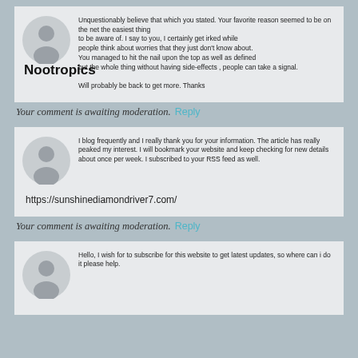[Figure (illustration): User avatar placeholder circle with person silhouette, first comment]
Unquestionably believe that which you stated. Your favorite reason seemed to be on the net the easiest thing to be aware of. I say to you, I certainly get irked while people think about worries that they just don't know about. You managed to hit the nail upon the top as well as defined but the whole thing without having side-effects , people can take a signal.

Will probably be back to get more. Thanks
Nootropics
Your comment is awaiting moderation.
Reply
[Figure (illustration): User avatar placeholder circle with person silhouette, second comment]
I blog frequently and I really thank you for your information. The article has really peaked my interest. I will bookmark your website and keep checking for new details about once per week. I subscribed to your RSS feed as well.
https://sunshinediamondriver7.com/
Your comment is awaiting moderation.
Reply
[Figure (illustration): User avatar placeholder circle with person silhouette, third comment]
Hello, I wish for to subscribe for this website to get latest updates, so where can i do it please help.